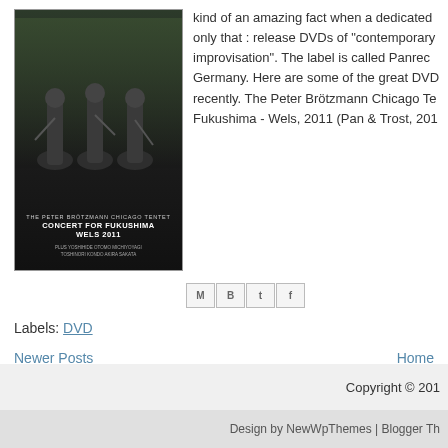[Figure (photo): Album cover for 'Concert for Fukushima - Wels 2011' by The Peter Brötzmann Chicago Tentet, dark background with musicians]
kind of an amazing fact when a dedicated only that : release DVDs of "contemporary improvisation". The label is called Panrec Germany. Here are some of the great DVD recently. The Peter Brötzmann Chicago Te Fukushima - Wels, 2011 (Pan & Trost, 201
[Figure (screenshot): Share icons: Email (M), Blogger (B), Twitter (t), Facebook (f)]
Labels: DVD
Newer Posts
Home
View mobile version
Subscribe to: Posts (Atom)
Copyright © 201
Design by NewWpThemes | Blogger Th